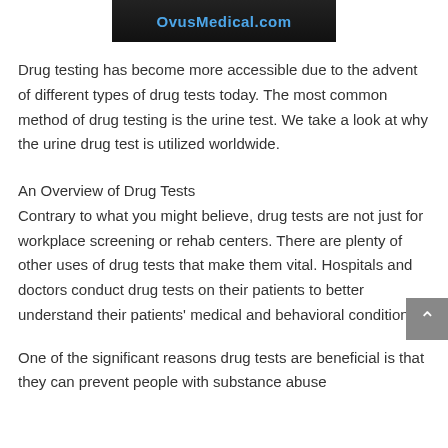[Figure (photo): Dark banner/image with 'OvusMedical.com' text in blue on a dark background]
Drug testing has become more accessible due to the advent of different types of drug tests today. The most common method of drug testing is the urine test. We take a look at why the urine drug test is utilized worldwide.
An Overview of Drug Tests
Contrary to what you might believe, drug tests are not just for workplace screening or rehab centers. There are plenty of other uses of drug tests that make them vital. Hospitals and doctors conduct drug tests on their patients to better understand their patients' medical and behavioral conditions.
One of the significant reasons drug tests are beneficial is that they can prevent people with substance abuse